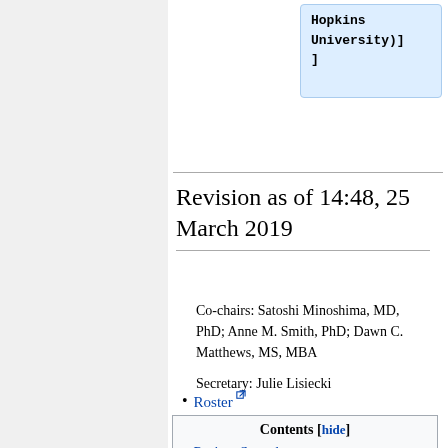Hopkins
University)]
]
Revision as of 14:48, 25 March 2019
Co-chairs: Satoshi Minoshima, MD, PhD; Anne M. Smith, PhD; Dawn C. Matthews, MS, MBA
Secretary: Julie Lisiecki
Roster
Contents [hide]
1 Project Snapshot
2 PET Amyloid Meetings/Call Summaries
3 PET Amyloid Profile Development